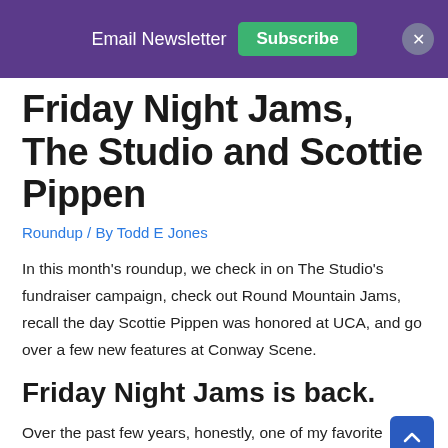Email Newsletter Subscribe
Friday Night Jams, The Studio and Scottie Pippen
Roundup / By Todd E Jones
In this month's roundup, we check in on The Studio's fundraiser campaign, check out Round Mountain Jams, recall the day Scottie Pippen was honored at UCA, and go over a few new features at Conway Scene.
Friday Night Jams is back.
Over the past few years, honestly, one of my favorite things to do is go to Friday Night Jams at